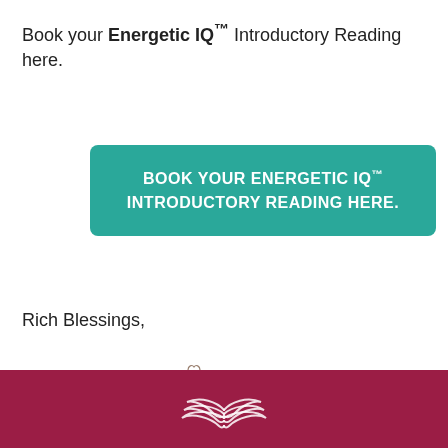Book your Energetic IQ™ Introductory Reading here.
[Figure (other): Teal rounded button with white bold text: BOOK YOUR ENERGETIC IQ™ INTRODUCTORY READING HERE.]
Rich Blessings,
[Figure (illustration): Handwritten cursive signature reading 'Jami' with a small heart above the i]
[Figure (logo): White wing/bird logo on dark crimson/maroon footer bar]